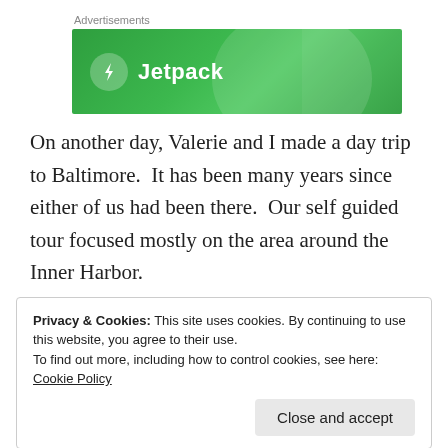[Figure (logo): Jetpack advertisement banner with green background, Jetpack logo (lightning bolt icon) and text 'Jetpack']
On another day, Valerie and I made a day trip to Baltimore.  It has been many years since either of us had been there.  Our self guided tour focused mostly on the area around the Inner Harbor.
Privacy & Cookies: This site uses cookies. By continuing to use this website, you agree to their use.
To find out more, including how to control cookies, see here: Cookie Policy
Close and accept